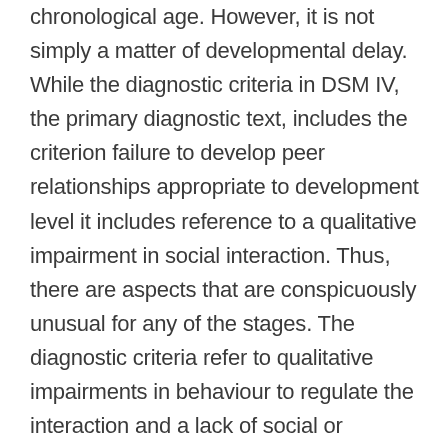chronological age. However, it is not simply a matter of developmental delay. While the diagnostic criteria in DSM IV, the primary diagnostic text, includes the criterion failure to develop peer relationships appropriate to development level it includes reference to a qualitative impairment in social interaction. Thus, there are aspects that are conspicuously unusual for any of the stages. The diagnostic criteria refer to qualitative impairments in behaviour to regulate the interaction and a lack of social or emotional reciprocity. What are qualitative differences at each stage from the perspective of the child with Asperger's Syndrome and their peers?